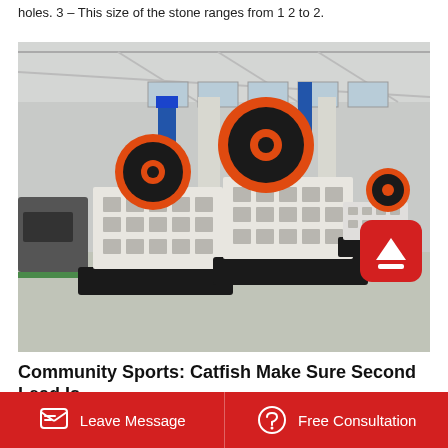holes. 3 – This size of the stone ranges from 1 2 to 2.
[Figure (photo): Industrial jaw crusher machines in a factory/warehouse setting. Two large white and orange jaw crushers on black bases are visible in the foreground, with a smaller unit in the background. The factory has a metal roof structure and concrete floor.]
Community Sports: Catfish Make Sure Second Lead Is
Leave Message
Free Consultation